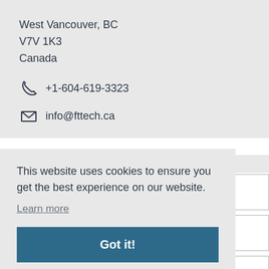West Vancouver, BC
V7V 1K3
Canada
+1-604-619-3323
info@fttech.ca
This website uses cookies to ensure you get the best experience on our website.
Learn more
Got it!